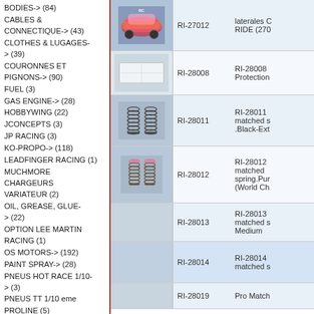BODIES-> (84)
CABLES & CONNECTIQUE-> (43)
CLOTHES & LUGAGES-> (39)
COURONNES ET PIGNONS-> (90)
FUEL (3)
GAS ENGINE-> (28)
HOBBYWING (22)
JCONCEPTS (3)
JP RACING (3)
KO-PROPO-> (118)
LEADFINGER RACING (1)
MUCHMORE CHARGEURS VARIATEUR (2)
OIL, GREASE, GLUE-> (22)
OPTION LEE MARTIN RACING (1)
OS MOTORS-> (192)
PAINT SPRAY-> (28)
PNEUS HOT RACE 1/10-> (3)
PNEUS TT 1/10 eme
PROLINE (5)
[Figure (photo): RC car body with colorful graphic wrap]
RI-27012
laterales C RIDE (270
[Figure (photo): White flat rectangular sheet/sticker]
RI-28008
RI-28008 Protection
[Figure (photo): Two black coil springs]
RI-28011
RI-28011 matched s .Black-Ext
[Figure (photo): Two coil springs with pink/purple tops]
RI-28012
RI-28012 matched spring.Pur (World Ch
RI-28013
RI-28013 matched s Medium
RI-28014
RI-28014 matched s
RI-28019
Pro Match